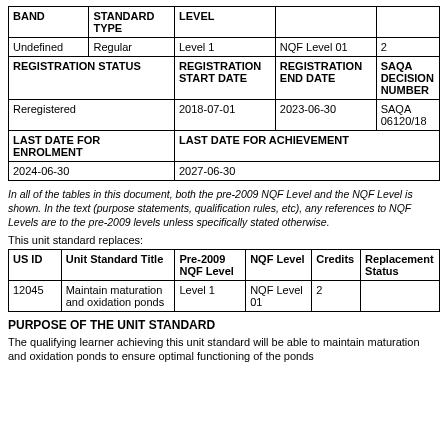| BAND | STANDARD TYPE | LEVEL |  |  |
| --- | --- | --- | --- | --- |
| Undefined | Regular | Level 1 | NQF Level 01 | 2 |
| REGISTRATION STATUS |  | REGISTRATION START DATE | REGISTRATION END DATE | SAQA DECISION NUMBER |
| Reregistered |  | 2018-07-01 | 2023-06-30 | SAQA 06120/18 |
| LAST DATE FOR ENROLMENT |  | LAST DATE FOR ACHIEVEMENT |  |  |
| 2024-06-30 |  | 2027-06-30 |  |  |
In all of the tables in this document, both the pre-2009 NQF Level and the NQF Level is shown. In the text (purpose statements, qualification rules, etc), any references to NQF Levels are to the pre-2009 levels unless specifically stated otherwise.
This unit standard replaces:
| US ID | Unit Standard Title | Pre-2009 NQF Level | NQF Level | Credits | Replacement Status |
| --- | --- | --- | --- | --- | --- |
| 12045 | Maintain maturation and oxidation ponds | Level 1 | NQF Level 01 | 2 |  |
PURPOSE OF THE UNIT STANDARD
The qualifying learner achieving this unit standard will be able to maintain maturation and oxidation ponds to ensure optimal functioning of the ponds